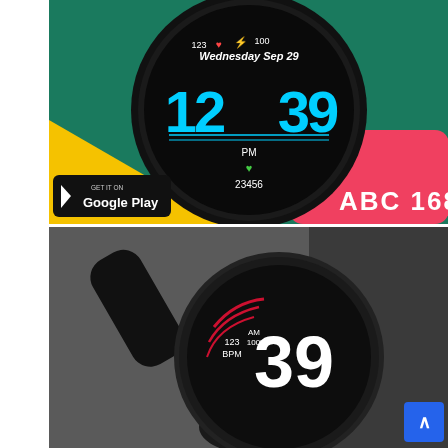[Figure (photo): Smartwatch with digital watch face showing '12 39' in large cyan numbers, 'Wednesday Sep 29' text, date/heart/battery indicators (123, heart icon, lightning bolt, 100), PM label, green heart icon, '23456' steps. Red strap. Teal and yellow background. Google Play badge bottom left, 'ABC 168' text bottom right in white bold.]
[Figure (photo): Black smartwatch photographed at angle on grey background. Watch face shows '39' in large white numbers with red curved accent lines, '123 BPM', 'AM 100%' text visible on dark dial. Black rubber strap.]